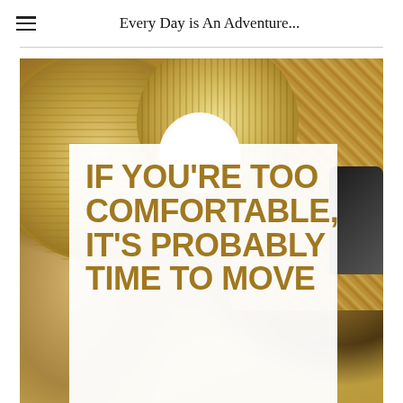Every Day is An Adventure...
[Figure (photo): Beach/travel accessories flat lay photo showing straw hats, woven bag, and sunglasses in warm golden tones, with a white overlaid text box containing the motivational quote: IF YOU'RE TOO COMFORTABLE, IT'S PROBABLY TIME TO MOVE]